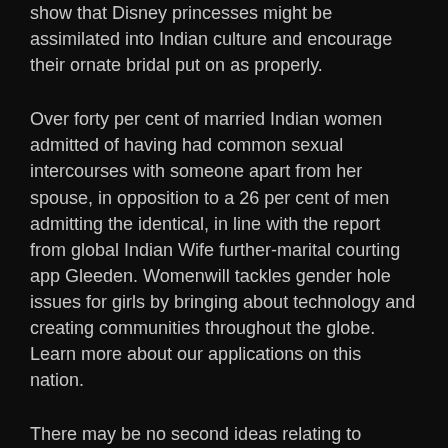show that Disney princesses might be assimilated into Indian culture and encourage their ornate bridal put on as properly.
Over forty per cent of married Indian women admitted of having had common sexual intercourses with someone apart from her spouse, in opposition to a 26 per cent of men admitting the identical, in line with the report from global Indian Wife further-marital courting app Gleeden. Womenwill tackles gender hole issues for girls by bringing about technology and creating communities throughout the globe. Learn more about our applications on this nation.
There may be no second ideas relating to purchasing for Indian marriage ceremony attire, bridal wears, get together wear and festive clothes as 'Kalki' is the title that comes to the thoughts of all style aware women who love to dress up in style and to their liking. We're here to offer you exactly